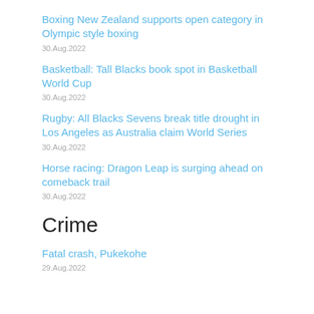Boxing New Zealand supports open category in Olympic style boxing
30.Aug.2022
Basketball: Tall Blacks book spot in Basketball World Cup
30.Aug.2022
Rugby: All Blacks Sevens break title drought in Los Angeles as Australia claim World Series
30.Aug.2022
Horse racing: Dragon Leap is surging ahead on comeback trail
30.Aug.2022
Crime
Fatal crash, Pukekohe
29.Aug.2022